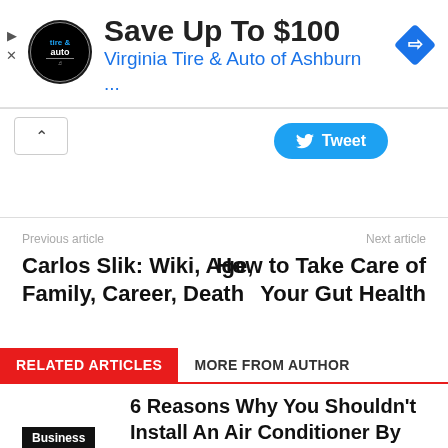[Figure (screenshot): Advertisement banner for Virginia Tire & Auto with logo, 'Save Up To $100' headline, 'Virginia Tire & Auto of Ashburn ...' subtitle in blue, and a blue diamond navigation icon.]
[Figure (screenshot): Tweet button (blue rounded rectangle with Twitter bird icon and 'Tweet' text) and a caret/collapse button.]
Previous article
Next article
Carlos Slik: Wiki, Age, Family, Career, Death
How to Take Care of Your Gut Health
RELATED ARTICLES
MORE FROM AUTHOR
6 Reasons Why You Shouldn't Install An Air Conditioner By Yourself
Business